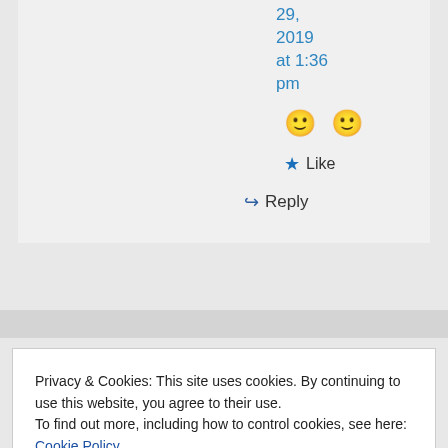29, 2019 at 1:36 pm
[Figure (other): Two smiley face emoji 🙂 🙂]
★ Like
↪ Reply
Privacy & Cookies: This site uses cookies. By continuing to use this website, you agree to their use.
To find out more, including how to control cookies, see here: Cookie Policy
Close and accept